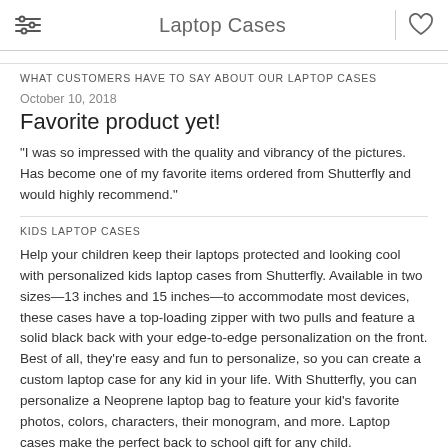Laptop Cases
WHAT CUSTOMERS HAVE TO SAY ABOUT OUR LAPTOP CASES
October 10, 2018
Favorite product yet!
"I was so impressed with the quality and vibrancy of the pictures. Has become one of my favorite items ordered from Shutterfly and would highly recommend."
KIDS LAPTOP CASES
Help your children keep their laptops protected and looking cool with personalized kids laptop cases from Shutterfly. Available in two sizes—13 inches and 15 inches—to accommodate most devices, these cases have a top-loading zipper with two pulls and feature a solid black back with your edge-to-edge personalization on the front. Best of all, they're easy and fun to personalize, so you can create a custom laptop case for any kid in your life. With Shutterfly, you can personalize a Neoprene laptop bag to feature your kid's favorite photos, colors, characters, their monogram, and more. Laptop cases make the perfect back to school gift for any child.
PERSONALIZED KIDS LAPTOP CASES THAT ARE STYLISH &